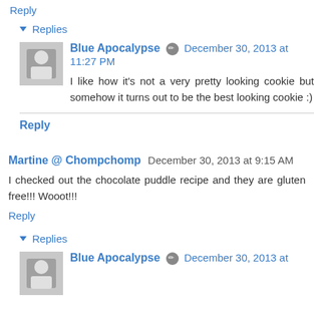Reply
▾ Replies
Blue Apocalypse ✏ December 30, 2013 at 11:27 PM
I like how it's not a very pretty looking cookie but somehow it turns out to be the best looking cookie :)
Reply
Martine @ Chompchomp December 30, 2013 at 9:15 AM
I checked out the chocolate puddle recipe and they are gluten free!!! Wooot!!!
Reply
▾ Replies
Blue Apocalypse ✏ December 30, 2013 at